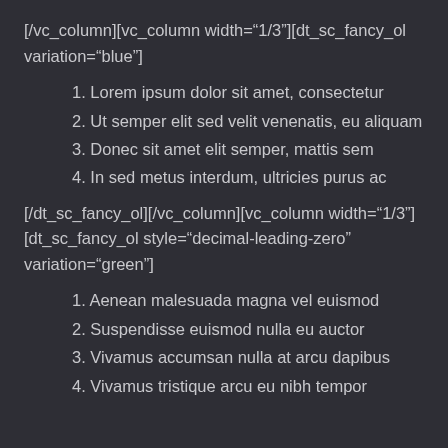[/vc_column][vc_column width="1/3"][dt_sc_fancy_ol variation="blue"]
1. Lorem ipsum dolor sit amet, consectetur
2. Ut semper elit sed velit venenatis, eu aliquam
3. Donec sit amet elit semper, mattis sem
4. In sed metus interdum, ultricies purus ac
[/dt_sc_fancy_ol][/vc_column][vc_column width="1/3"][dt_sc_fancy_ol style="decimal-leading-zero" variation="green"]
1. Aenean malesuada magna vel euismod
2. Suspendisse euismod nulla eu auctor
3. Vivamus accumsan nulla at arcu dapibus
4. Vivamus tristique arcu eu nibh tempor